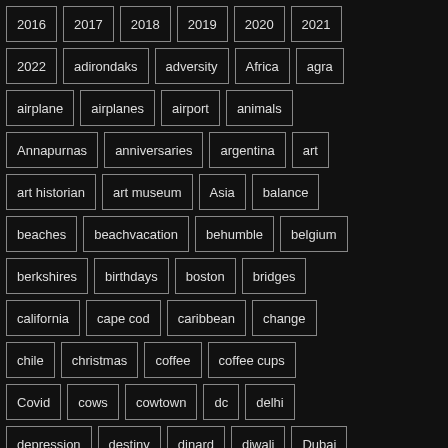2016
2017
2018
2019
2020
2021
2022
adirondaks
adversity
Africa
agra
airplane
airplanes
airport
animals
Annapurnas
anniversaries
argentina
art
art historian
art museum
Asia
balance
beaches
beachvacation
behumble
belgium
berkshires
birthdays
boston
bridges
california
cape cod
caribbean
change
chile
christmas
coffee
coffee cups
Covid
cows
cowtown
dc
delhi
depression
destiny
dinard
diwali
Dubai
East Africa